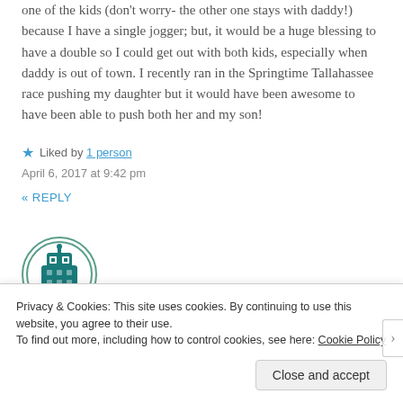one of the kids (don't worry- the other one stays with daddy!) because I have a single jogger; but, it would be a huge blessing to have a double so I could get out with both kids, especially when daddy is out of town. I recently ran in the Springtime Tallahassee race pushing my daughter but it would have been awesome to have been able to push both her and my son!
★ Liked by 1 person
April 6, 2017 at 9:42 pm
« REPLY
[Figure (illustration): Circular avatar icon with teal/green border containing a stylized robot or character icon in teal/dark teal colors]
Privacy & Cookies: This site uses cookies. By continuing to use this website, you agree to their use.
To find out more, including how to control cookies, see here: Cookie Policy
Close and accept